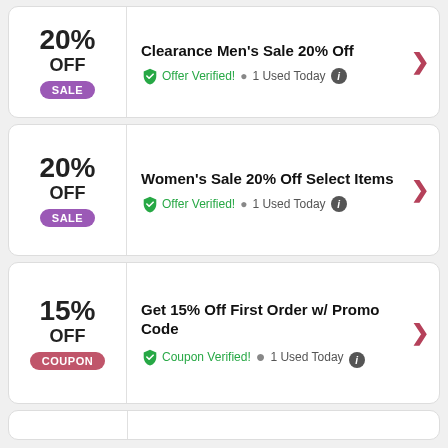20% OFF SALE — Clearance Men's Sale 20% Off — Offer Verified! · 1 Used Today
20% OFF SALE — Women's Sale 20% Off Select Items — Offer Verified! · 1 Used Today
15% OFF COUPON — Get 15% Off First Order w/ Promo Code — Coupon Verified! · 1 Used Today